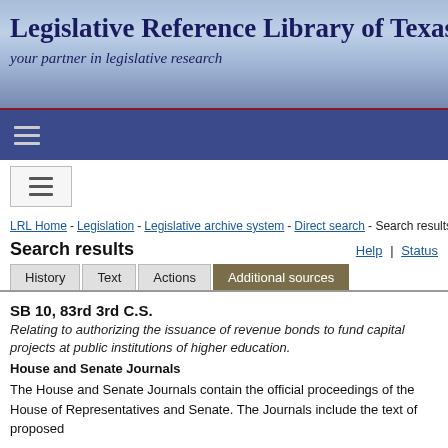Legislative Reference Library of Texas
your partner in legislative research
[Figure (screenshot): Navigation bar with hamburger menu icon on dark blue background]
[Figure (screenshot): Hamburger menu button in a white box]
LRL Home - Legislation - Legislative archive system - Direct search - Search results
Search results
Help | Status
History  Text  Actions  Additional sources
SB 10, 83rd 3rd C.S.
Relating to authorizing the issuance of revenue bonds to fund capital projects at public institutions of higher education.
House and Senate Journals
The House and Senate Journals contain the official proceedings of the House of Representatives and Senate. The Journals include the text of proposed